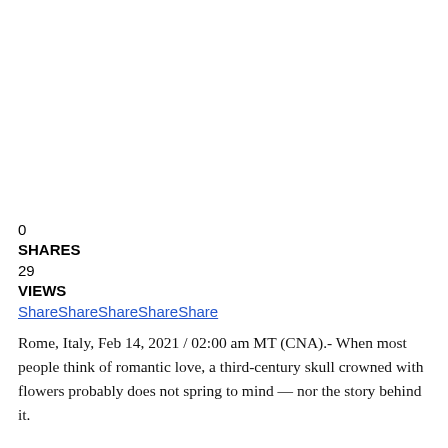0
SHARES
29
VIEWS
ShareShareShareShareShare
Rome, Italy, Feb 14, 2021 / 02:00 am MT (CNA).- When most people think of romantic love, a third-century skull crowned with flowers probably does not spring to mind — nor the story behind it.
But a visit to an unassuming Byzantine basilica in Rome might change that.